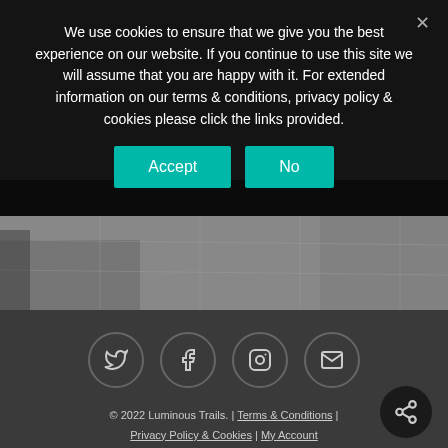We use cookies to ensure that we give you the best experience on our website. If you continue to use this site we will assume that you are happy with it. For extended information on our terms & conditions, privacy policy & cookies please click the links provided.
[Figure (screenshot): Grayscale aerial/top-down photo of a tiled or paved surface, possibly a road or courtyard.]
[Figure (infographic): Footer social media icon row: Twitter, Facebook, Instagram, Email — each in a circular outlined button on dark grey background.]
© 2022 Luminous Trails. | Terms & Conditions | Privacy Policy & Cookies | My Account